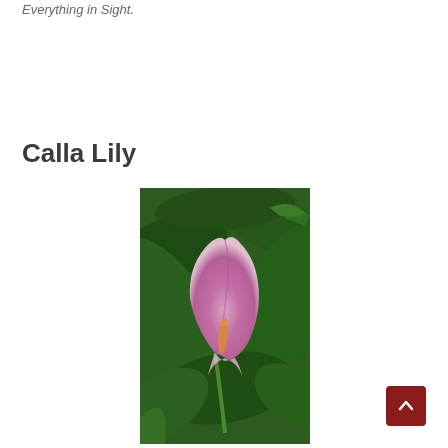Everything in Sight.
Calla Lily
[Figure (photo): A pink/purple calla lily flower with a small orange spadix, surrounded by large green leaves, photographed outdoors.]